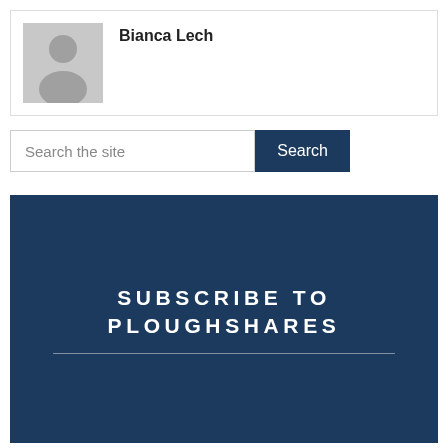[Figure (photo): Grey placeholder avatar silhouette icon]
Bianca Lech
[Figure (other): Search bar with text input 'Search the site' and a dark blue 'Search' button]
[Figure (other): Dark navy blue banner with white bold uppercase text 'SUBSCRIBE TO PLOUGHSHARES' and a horizontal rule beneath]